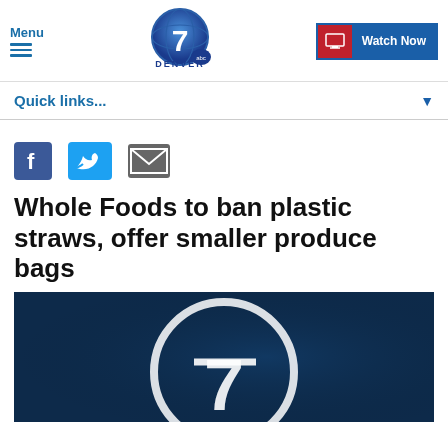Menu | Denver 7 ABC | Watch Now
Quick links...
[Figure (logo): Social share icons: Facebook, Twitter, Email]
Whole Foods to ban plastic straws, offer smaller produce bags
[Figure (screenshot): Denver 7 ABC logo watermark on dark blue background, video thumbnail]